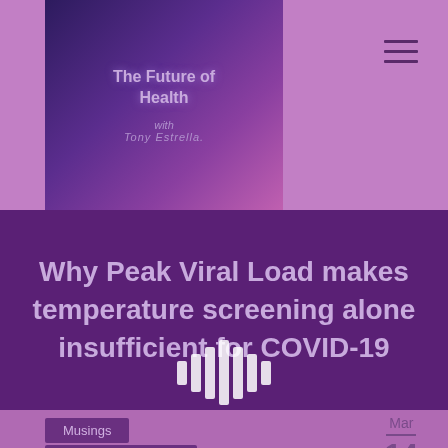[Figure (logo): The Future of Health with Tony Estrella podcast logo — purple galaxy background with text]
[Figure (other): Hamburger/menu icon with three horizontal lines]
Why Peak Viral Load makes temperature screening alone insufficient for COVID-19
[Figure (other): Audio waveform bars icon in white]
Musings
Thought Leadership
COVID-19
Peak Viral Load
Mar — 14 — 2020
[Figure (continuous-plot): Partial bell curve / epidemic curve shown in lighter purple on purple background, suggesting viral load over time]